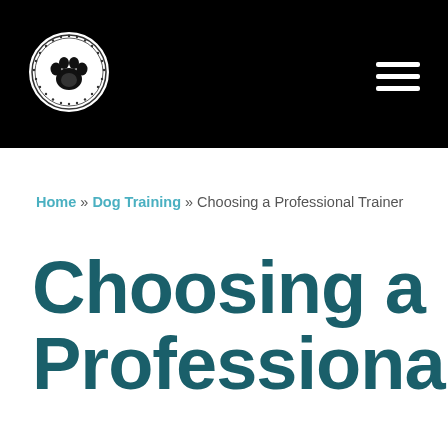[Figure (logo): Circular logo with paw print in center and text around the border, black and white, dog training brand]
Home » Dog Training » Choosing a Professional Trainer
Choosing a Professional Trainer